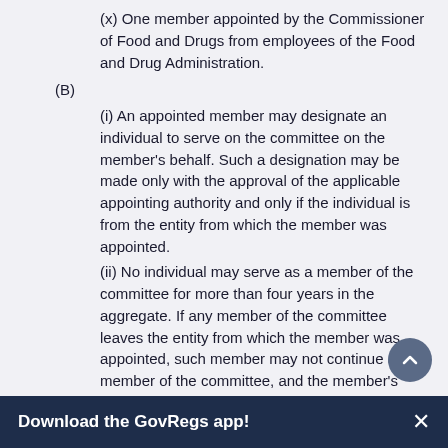(x) One member appointed by the Commissioner of Food and Drugs from employees of the Food and Drug Administration.
(B)
(i) An appointed member may designate an individual to serve on the committee on the member's behalf. Such a designation may be made only with the approval of the applicable appointing authority and only if the individual is from the entity from which the member was appointed.
(ii) No individual may serve as a member of the committee for more than four years in the aggregate. If any member of the committee leaves the entity from which the member was appointed, such member may not continue as a member of the committee, and the member's position shall be considered to be vacant. A vacancy in the committee shall be filled in the same manner in which the original appointment was made.
(iii) Initial appointments to the committee shall be made
Download the GovRegs app!